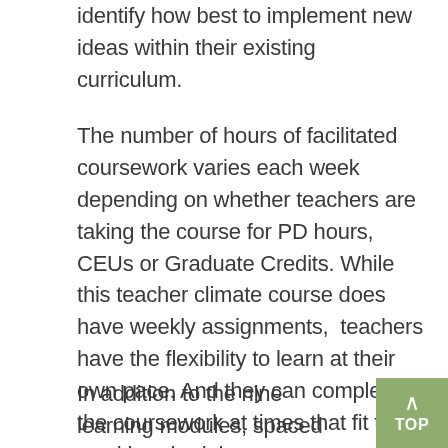identify how best to implement new ideas within their existing curriculum.
The number of hours of facilitated coursework varies each week depending on whether teachers are taking the course for PD hours, CEUs or Graduate Credits. While this teacher climate course does have weekly assignments,  teachers have the flexibility to learn at their own pace. And they can complete the coursework at times that fit their weekly schedule.
In addition to the nine learning modules, spaced throughout the climate education course are three